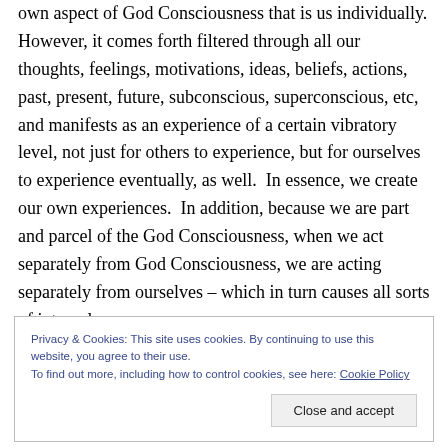own aspect of God Consciousness that is us individually. However, it comes forth filtered through all our thoughts, feelings, motivations, ideas, beliefs, actions, past, present, future, subconscious, superconscious, etc, and manifests as an experience of a certain vibratory level, not just for others to experience, but for ourselves to experience eventually, as well.  In essence, we create our own experiences.  In addition, because we are part and parcel of the God Consciousness, when we act separately from God Consciousness, we are acting separately from ourselves – which in turn causes all sorts of internal
Privacy & Cookies: This site uses cookies. By continuing to use this website, you agree to their use. To find out more, including how to control cookies, see here: Cookie Policy